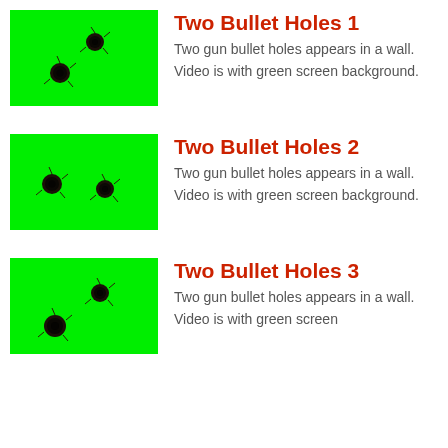[Figure (photo): Green screen background with two bullet holes appearing in a wall — holes positioned upper-center and lower-left of frame]
Two Bullet Holes 1
Two gun bullet holes appears in a wall. Video is with green screen background.
[Figure (photo): Green screen background with two bullet holes appearing in a wall — holes positioned left-center and right-center of frame]
Two Bullet Holes 2
Two gun bullet holes appears in a wall. Video is with green screen background.
[Figure (photo): Green screen background with two bullet holes appearing in a wall — holes positioned lower-left and lower-right of frame]
Two Bullet Holes 3
Two gun bullet holes appears in a wall. Video is with green screen